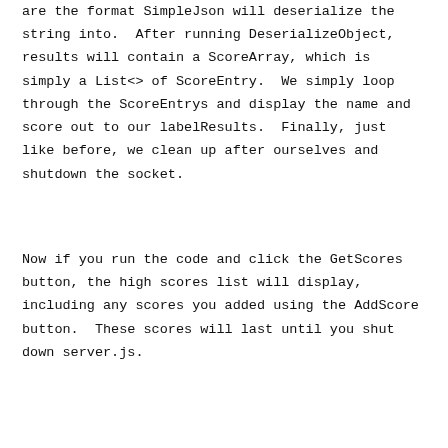are the format SimpleJson will deserialize the string into.  After running DeserializeObject, results will contain a ScoreArray, which is simply a List<> of ScoreEntry.  We simply loop through the ScoreEntrys and display the name and score out to our labelResults.  Finally, just like before, we clean up after ourselves and shutdown the socket.
Now if you run the code and click the GetScores button, the high scores list will display, including any scores you added using the AddScore button.  These scores will last until you shut down server.js.